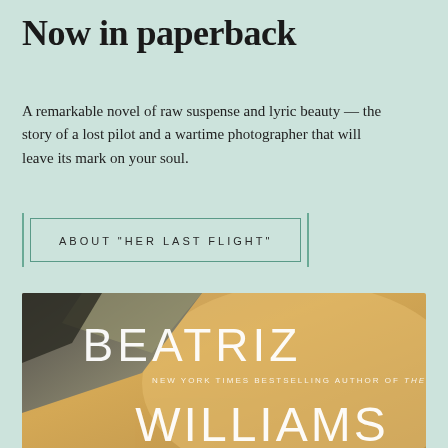Now in paperback
A remarkable novel of raw suspense and lyric beauty — the story of a lost pilot and a wartime photographer that will leave its mark on your soul.
ABOUT "HER LAST FLIGHT"
[Figure (illustration): Book cover for 'Her Last Flight' by Beatriz Williams showing airplane wing against warm golden sky, with text: BEATRIZ, NEW YORK TIMES BESTSELLING AUTHOR OF THE GOLDEN HOUR, WILLIAMS]